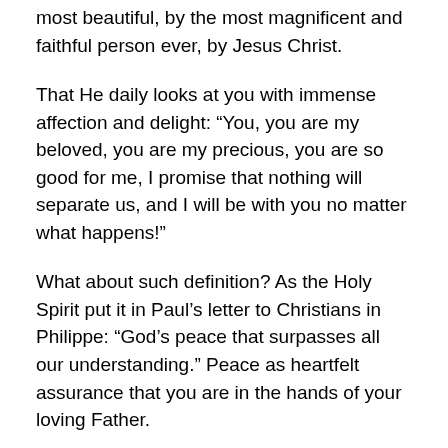most beautiful, by the most magnificent and faithful person ever, by Jesus Christ.
That He daily looks at you with immense affection and delight: “You, you are my beloved, you are my precious, you are so good for me, I promise that nothing will separate us, and I will be with you no matter what happens!”
What about such definition? As the Holy Spirit put it in Paul’s letter to Christians in Philippe: “God’s peace that surpasses all our understanding.” Peace as heartfelt assurance that you are in the hands of your loving Father.
Peace as your restful state, when you fully trust with your entire being, that this Jesus, the Son of God, who is your Lord, who calls you His friend, His brother, His sister, that He will never ever abandon you. And how would we know